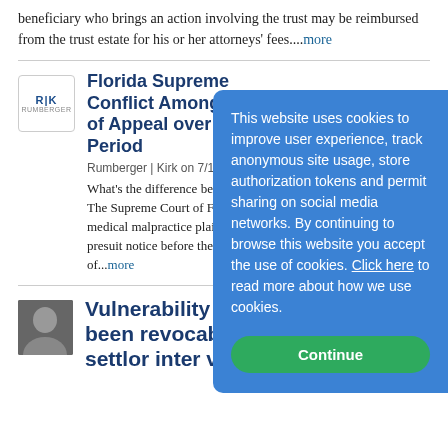beneficiary who brings an action involving the trust may be reimbursed from the trust estate for his or her attorneys' fees....more
Florida Supreme Court Resolves Conflict Among Districts Courts of Appeal over Medical Malpractice Presuit Notice Period
Rumberger | Kirk on 7/11/20
What's the difference between... The Supreme Court of Florida... medical malpractice plaintiff... presuit notice before the exp... of...more
Vulnerability of a... been revocable and funded by settlor inter vivos to
This website uses cookies to improve user experience, track anonymous site usage, store authorization tokens and permit sharing on social media networks. By continuing to browse this website you accept the use of cookies. Click here to read more about how we use cookies.
Continue